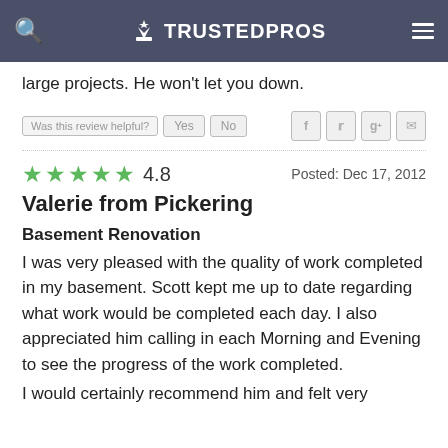TRUSTEDPROS
large projects. He won't let you down.
Was this review helpful? Yes No
★★★★★ 4.8   Posted: Dec 17, 2012
Valerie from Pickering
Basement Renovation
I was very pleased with the quality of work completed in my basement. Scott kept me up to date regarding what work would be completed each day. I also appreciated him calling in each Morning and Evening to see the progress of the work completed.
I would certainly recommend him and felt very